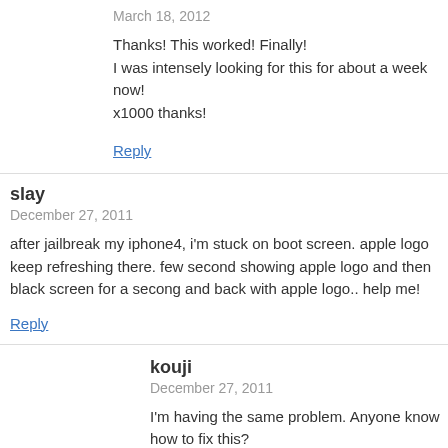March 18, 2012
Thanks! This worked! Finally!
I was intensely looking for this for about a week now!
x1000 thanks!
Reply
slay
December 27, 2011
after jailbreak my iphone4, i'm stuck on boot screen. apple logo keep refreshing there. few second showing apple logo and then black screen for a secong and back with apple logo.. help me!
Reply
kouji
December 27, 2011
I'm having the same problem. Anyone know how to fix this?
Reply